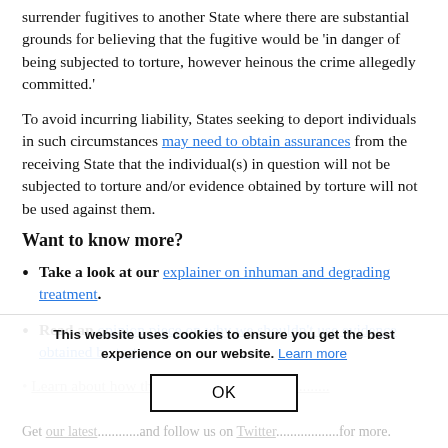surrender fugitives to another State where there are substantial grounds for believing that the fugitive would be 'in danger of being subjected to torture, however heinous the crime allegedly committed.'
To avoid incurring liability, States seeking to deport individuals in such circumstances may need to obtain assurances from the receiving State that the individual(s) in question will not be subjected to torture and/or evidence obtained by torture will not be used against them.
Want to know more?
Take a look at our explainer on inhuman and degrading treatment.
Read an opinion piece on why we shouldn't use evidence obtained by torture.
Learn about how the... [faded, partially visible]
Cookie banner: This website uses cookies to ensure you get the best experience on our website. Learn more